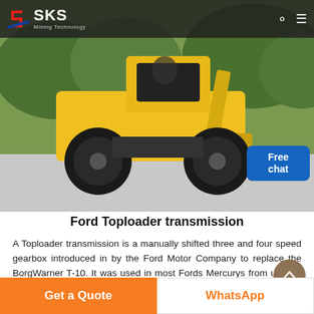SKS Mining Technology
[Figure (photo): Yellow compact wheel loader / skid steer machine on a paved surface with green trees in background. A chat support person icon is visible at right edge.]
Ford Toploader transmission
A Toploader transmission is a manually shifted three and four speed gearbox introduced in by the Ford Motor Company to replace the BorgWarner T-10. It was used in most Fords Mercurys from until as well as some foreign models. Officially
Get a Quote | WhatsApp